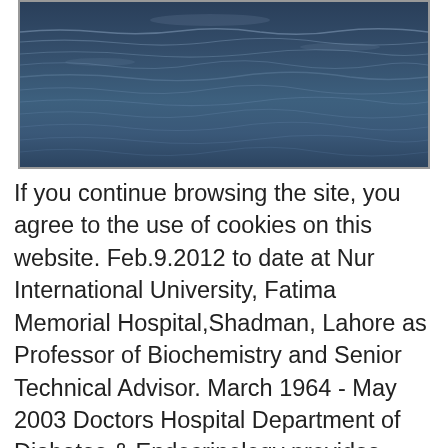[Figure (photo): Ocean/sea water surface photograph showing dark blue-grey choppy waves.]
If you continue browsing the site, you agree to the use of cookies on this website. Feb.9.2012 to date at Nur International University, Fatima Memorial Hospital,Shadman, Lahore as Professor of Biochemistry and Senior Technical Advisor. March 1964 - May 2003 Doctors Hospital Department of Diabetes & Endocrinology provides comprehensive services for diagnosis and management of Endocrine disorders including diabetes and its complications, thyroid disorders, high blood pressure, lipid disorders, Osteoporosis, pituitary dysfunction, adrenal problems, parathyroid/calcium